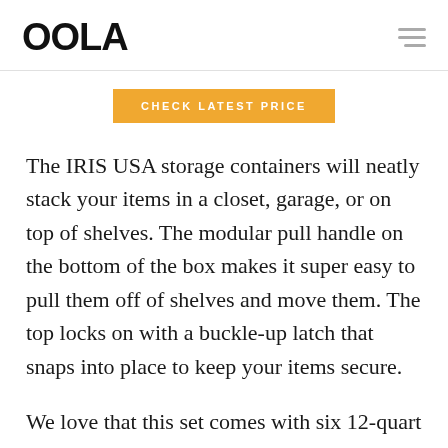OOLA
CHECK LATEST PRICE
The IRIS USA storage containers will neatly stack your items in a closet, garage, or on top of shelves. The modular pull handle on the bottom of the box makes it super easy to pull them off of shelves and move them. The top locks on with a buckle-up latch that snaps into place to keep your items secure.
We love that this set comes with six 12-quart bins so you have plenty of room for clothes.